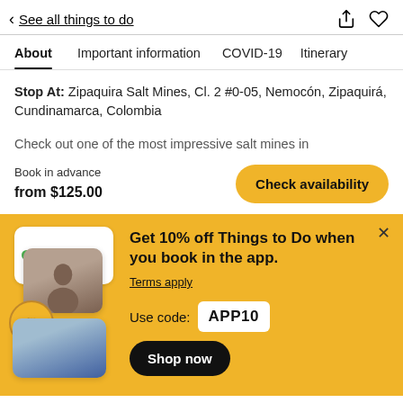< See all things to do
About  Important information  COVID-19  Itinerary
Stop At: Zipaquira Salt Mines, Cl. 2 #0-05, Nemocón, Zipaquirá, Cundinamarca, Colombia
Check out one of the most impressive salt mines in
Book in advance
from $125.00
Check availability
[Figure (screenshot): Promotional app banner with travel photos]
Get 10% off Things to Do when you book in the app.
Terms apply
Use code: APP10
Shop now